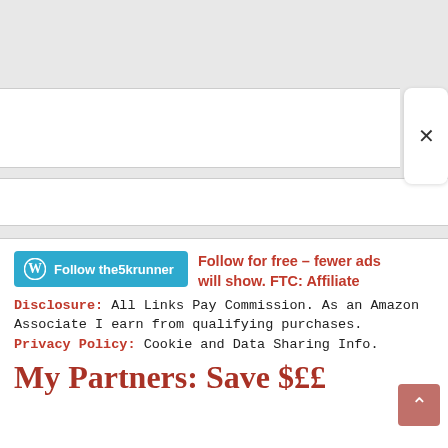[Figure (screenshot): WordPress Follow button with teal background reading 'Follow the5krunner']
Follow for free – fewer ads will show. FTC: Affiliate Disclosure: All Links Pay Commission. As an Amazon Associate I earn from qualifying purchases. Privacy Policy: Cookie and Data Sharing Info.
My Partners: Save $££